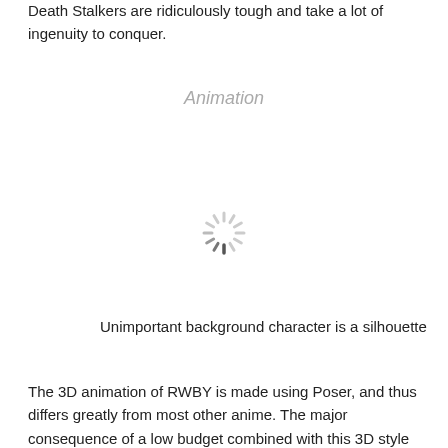Death Stalkers are ridiculously tough and take a lot of ingenuity to conquer.
Animation
[Figure (other): Loading spinner icon — a circular arrangement of short radial lines (like a wait/loading indicator), with the lines at the left side appearing slightly darker/heavier.]
Unimportant background character is a silhouette
The 3D animation of RWBY is made using Poser, and thus differs greatly from most other anime. The major consequence of a low budget combined with this 3D style